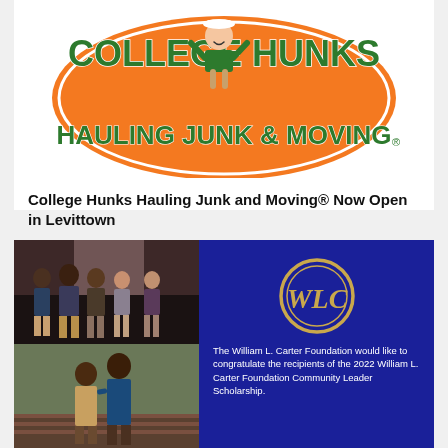[Figure (logo): College Hunks Hauling Junk & Moving logo — orange oval background with green bold text reading COLLEGE HUNKS on top and HAULING JUNK & MOVING below, with a cartoon mascot figure in the center]
College Hunks Hauling Junk and Moving® Now Open in Levittown
[Figure (photo): Composite image: left side shows two photographs — top photo shows a group of five young people standing together at an event, bottom photo shows a young man and woman posing together outdoors near brick steps. Right side is a dark blue panel with a gold circular WLC logo and text reading: The William L. Carter Foundation would like to congratulate the recipients of the 2022 William L. Carter Foundation Community Leader Scholarship.]